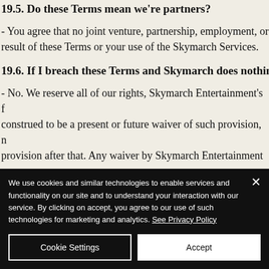19.5. Do these Terms mean we're partners?
- You agree that no joint venture, partnership, employment, or result of these Terms or your use of the Skymarch Services.
19.6. If I breach these Terms and Skymarch does nothing f
- No. We reserve all of our rights, Skymarch Entertainment's f construed to be a present or future waiver of such provision, n provision after that. Any waiver by Skymarch Entertainment o
We use cookies and similar technologies to enable services and functionality on our site and to understand your interaction with our service. By clicking on accept, you agree to our use of such technologies for marketing and analytics. See Privacy Policy
Cookie Settings
Accept